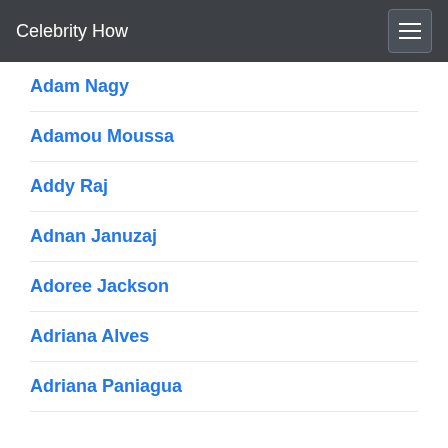Celebrity How
Adam Nagy
Adamou Moussa
Addy Raj
Adnan Januzaj
Adoree Jackson
Adriana Alves
Adriana Paniagua